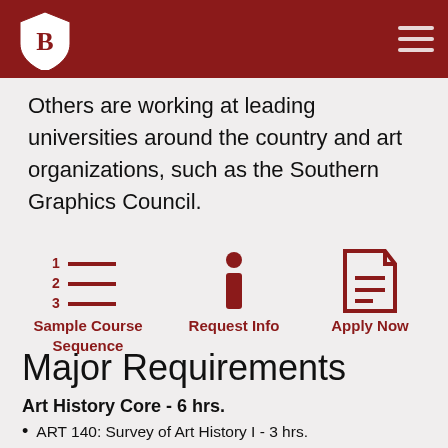Bowling Green State University header with logo and navigation
Others are working at leading universities around the country and art organizations, such as the Southern Graphics Council.
[Figure (infographic): Three icons: (1) numbered list icon labeled 'Sample Course Sequence', (2) info icon labeled 'Request Info', (3) document icon labeled 'Apply Now']
Major Requirements
Art History Core - 6 hrs.
ART 140: Survey of Art History I - 3 hrs.
ART 142: Survey of Art History II - 3 hrs.